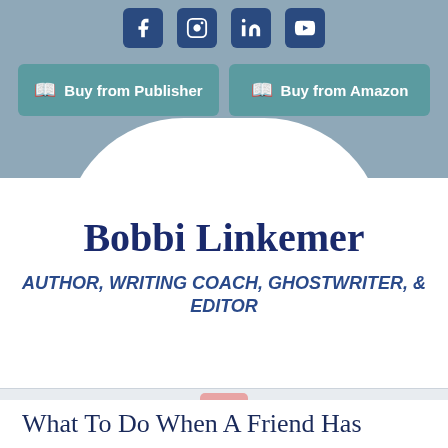[Figure (screenshot): Social media icons row: Facebook, Instagram, LinkedIn, YouTube — white icons on dark blue rounded square backgrounds]
[Figure (other): Two teal/green Buy buttons: 'Buy from Publisher' and 'Buy from Amazon' with book icons]
Bobbi Linkemer
AUTHOR, WRITING COACH, GHOSTWRITER, & EDITOR
[Figure (other): Pink hamburger/menu button with teal lines, on a light grey navigation bar]
What To Do When A Friend Has